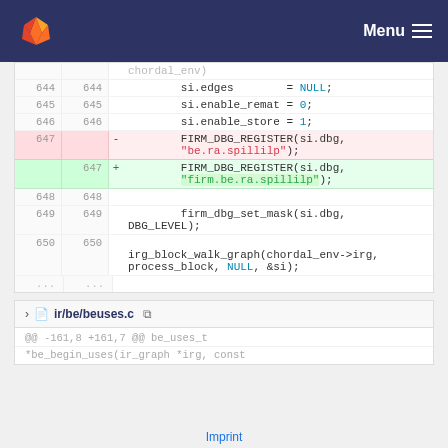GitLab — Menu
[Figure (screenshot): Code diff view showing changes to a C source file. Lines 644-650 with line numbers, diff markers, and syntax-highlighted code. Deleted line 647 removes 'be.ra.spillilp' string, added line 647 adds 'firm.be.ra.spillilp'. Lines 648-650 show context code including firm_dbg_set_mask and irg_block_walk_graph.]
ir/be/beuses.c
@@ -161,8 +161,7 @@ be_uses_t *be_begin_uses(ir_graph *irg, const
Imprint